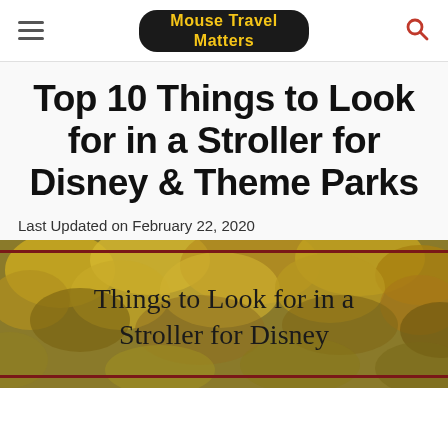Mouse Travel Matters
Top 10 Things to Look for in a Stroller for Disney & Theme Parks
Last Updated on February 22, 2020
[Figure (photo): Autumn leaves background with text overlay reading 'Things to Look for in a Stroller for Disney']